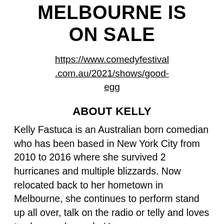MELBOURNE IS ON SALE
https://www.comedyfestival.com.au/2021/shows/good-egg
ABOUT KELLY
Kelly Fastuca is an Australian born comedian who has been based in New York City from 2010 to 2016 where she survived 2 hurricanes and multiple blizzards. Now relocated back to her hometown in Melbourne, she continues to perform stand up all over, talk on the radio or telly and loves to play candy crush. Here are some career highli…